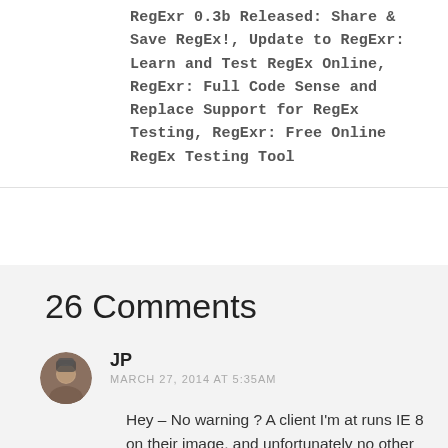RegExr 0.3b Released: Share & Save RegEx!, Update to RegExr: Learn and Test RegEx Online, RegExr: Full Code Sense and Replace Support for RegEx Testing, RegExr: Free Online RegEx Testing Tool
26 Comments
JP
MARCH 27, 2014 AT 5:35AM
Hey – No warning ? A client I'm at runs IE 8 on their image, and unfortunately no other